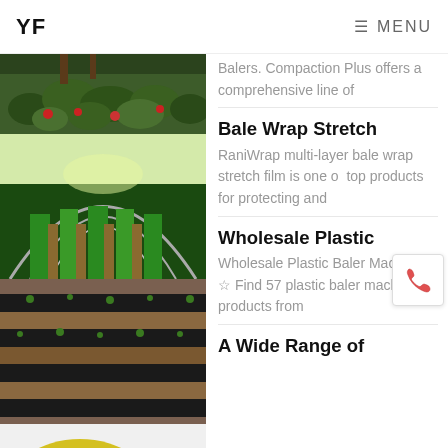YF   ≡ MENU
[Figure (photo): Strawberry plants growing under black plastic mulch]
Balers. Compaction Plus offers a comprehensive line of
[Figure (photo): Greenhouse tunnel interior with rows of green leafy vegetables]
Bale Wrap Stretch
RaniWrap multi-layer bale wrap stretch film is one of top products for protecting and
[Figure (photo): Agricultural field with black plastic mulch strips over soil rows]
Wholesale Plastic
Wholesale Plastic Baler Machine ☆ Find 57 plastic baler machine products from
[Figure (photo): Yellow tape roll partially visible at bottom left]
A Wide Range of